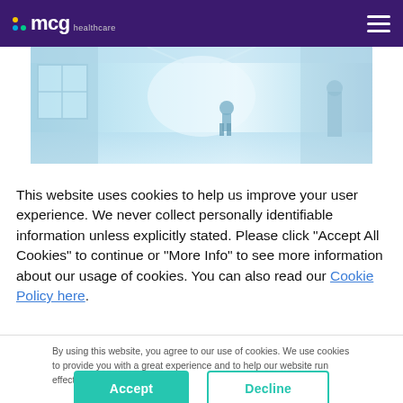mcg healthcare
[Figure (photo): Blurred hospital corridor with a person walking away, tinted blue/cyan]
This website uses cookies to help us improve your user experience. We never collect personally identifiable information unless explicitly stated. Please click "Accept All Cookies" to continue or "More Info" to see more information about our usage of cookies. You can also read our Cookie Policy here.
By using this website, you agree to our use of cookies. We use cookies to provide you with a great experience and to help our website run effectively.